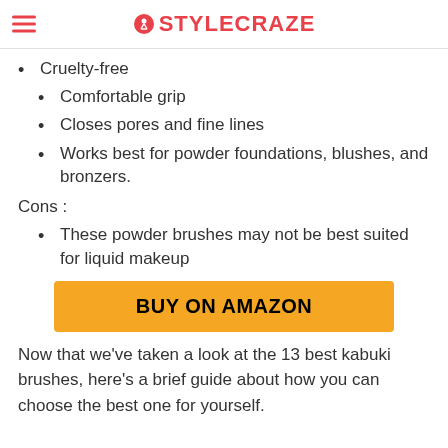STYLECRAZE
Cruelty-free
Comfortable grip
Closes pores and fine lines
Works best for powder foundations, blushes, and bronzers.
Cons :
These powder brushes may not be best suited for liquid makeup
[Figure (other): BUY ON AMAZON button (orange/yellow background, bold black text)]
Now that we’ve taken a look at the 13 best kabuki brushes, here’s a brief guide about how you can choose the best one for yourself.